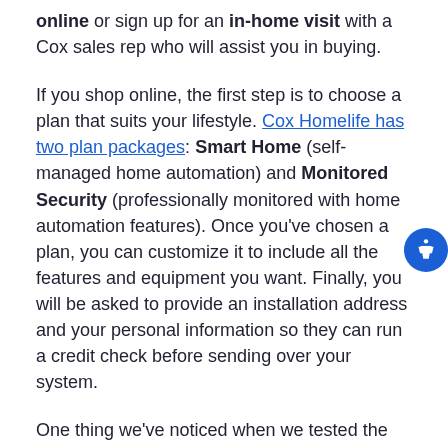online or sign up for an in-home visit with a Cox sales rep who will assist you in buying.
If you shop online, the first step is to choose a plan that suits your lifestyle. Cox Homelife has two plan packages: Smart Home (self-managed home automation) and Monitored Security (professionally monitored with home automation features). Once you've chosen a plan, you can customize it to include all the features and equipment you want. Finally, you will be asked to provide an installation address and your personal information so they can run a credit check before sending over your system.
One thing we've noticed when we tested the online sales process is that the interface is not at all intuitive. It refreshed for no apparent reason a